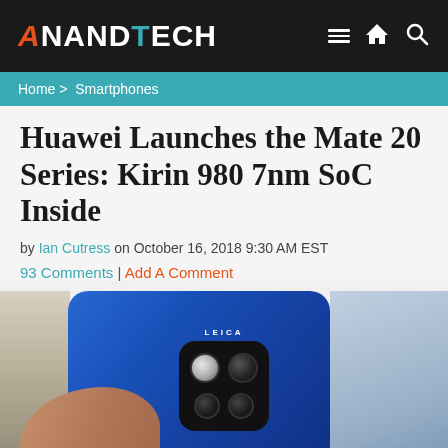AnandTech
Home > Smartphones
Huawei Launches the Mate 20 Series: Kirin 980 7nm SoC Inside
by Ian Cutress on October 16, 2018 9:30 AM EST
93 Comments | Add A Comment
[Figure (photo): Back of a Huawei Mate 20 smartphone showing the triple Leica camera module with square housing, held in a hand against a window background]